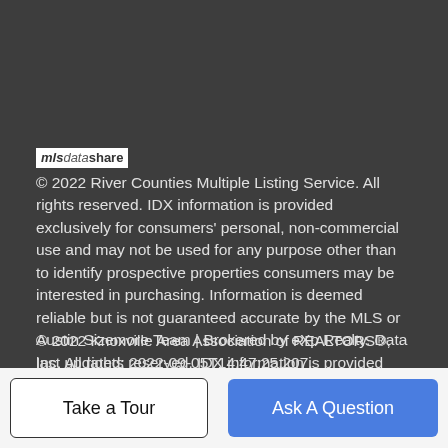[Figure (logo): mlsdatashare logo — white background box with stylized italic text 'mls' in dark, 'data' in gray italic, 'share' in bold dark]
© 2022 River Counties Multiple Listing Service. All rights reserved. IDX information is provided exclusively for consumers' personal, non-commercial use and may not be used for any purpose other than to identify prospective properties consumers may be interested in purchasing. Information is deemed reliable but is not guaranteed accurate by the MLS or Austin Sizemore Team | Brokered by eXp Realty. Data last updated: 2022-09-05T14:47:25.207.
© 2022 Knoxville Area Association of REALTORS®, Inc. All rights reserved. IDX information is provided exclusively for consumers' personal, non-commercial use and may not be used for any purpose other than to identify prospective properties consumers may be interested in purchasing some or all of the listings...
Take a Tour
Ask A Question